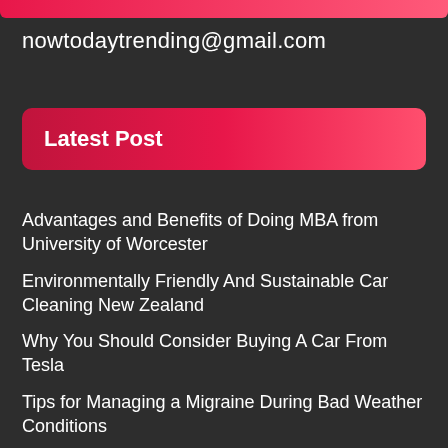nowtodaytrending@gmail.com
Latest Post
Advantages and Benefits of Doing MBA from University of Worcester
Environmentally Friendly And Sustainable Car Cleaning New Zealand
Why You Should Consider Buying A Car From Tesla
Tips for Managing a Migraine During Bad Weather Conditions
Warehouse in Jebel Ali – Facts About the Port of Jebel